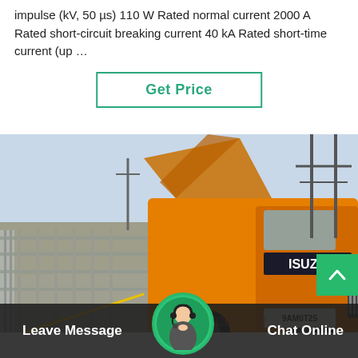impulse (kV, 50 µs) 110 W Rated normal current 2000 A Rated short-circuit breaking current 40 kA Rated short-time current (up …
Get Price
[Figure (photo): A yellow Isuzu truck parked along a road near electrical infrastructure and metal fencing, with the truck's cargo body opened upward.]
Leave Message   Chat Online